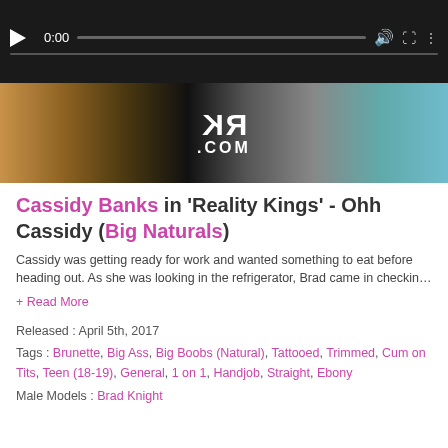[Figure (screenshot): Video player showing a paused video at 0:00 with dark background and player controls]
[Figure (photo): Banner advertisement for RK.com (Reality Kings) showing logo]
Cassidy Banks in 'Reality Kings' - Ohh Cassidy (Big Naturals)
Cassidy was getting ready for work and wanted something to eat before heading out. As she was looking in the refrigerator, Brad came in checkin...
+ Read More
Released : April 5th, 2017
Tags : Brunette, Big Ass, Big Boobs (Natural), Tattooed, Trimmed, Cum on Tits, Teen (18-19), General, 1 on 1, Handjob, Straight, Ebony
Male Models : Brad Knight